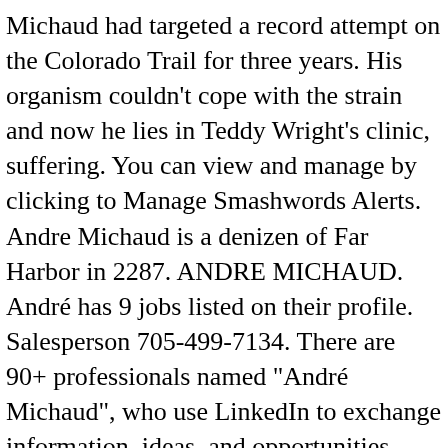Michaud had targeted a record attempt on the Colorado Trail for three years. His organism couldn't cope with the strain and now he lies in Teddy Wright's clinic, suffering. You can view and manage by clicking to Manage Smashwords Alerts. Andre Michaud is a denizen of Far Harbor in 2287. ANDRE MICHAUD. André has 9 jobs listed on their profile. Salesperson 705-499-7134. There are 90+ professionals named "André Michaud", who use LinkedIn to exchange information, ideas, and opportunities. ANDRE MICHAUD Share. Andre Michaud is on Facebook. Play Episode. Bondrée - Andrée A. Michaud. Andre Michaud played in one league over the course of his career. Andre Michaud We found 29 records for Andre Michaud in Florida, Mississippi and 9 other states.Select the best result to find their address, phone number, relatives, and public records. Gratis